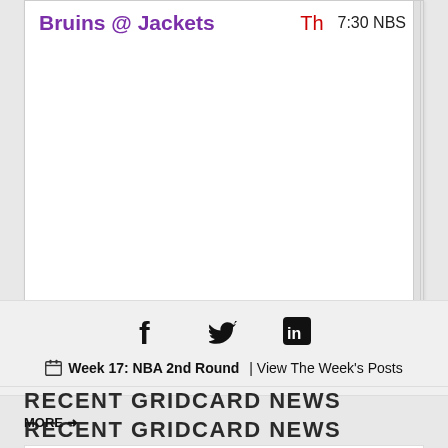Bruins @ Jackets  Th  7:30 NBS
[Figure (other): Social media share icons: Facebook, Twitter, LinkedIn]
📅 Week 17: NBA 2nd Round | View The Week's Posts
RECENT GRIDCARD NEWS
MORE ➔
Holding Pattern
End Run
Find Your GridCard Team